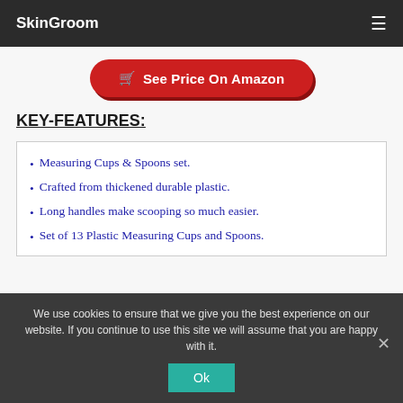SkinGroom
See Price On Amazon
KEY-FEATURES:
Measuring Cups & Spoons set.
Crafted from thickened durable plastic.
Long handles make scooping so much easier.
Set of 13 Plastic Measuring Cups and Spoons.
We use cookies to ensure that we give you the best experience on our website. If you continue to use this site we will assume that you are happy with it.